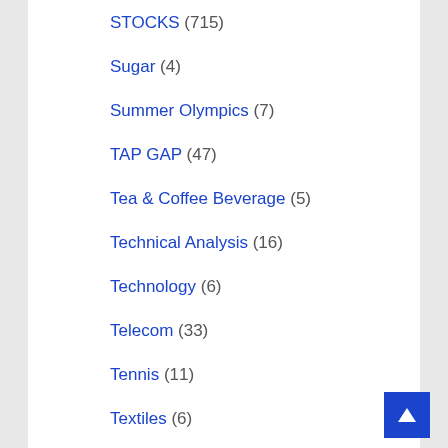STOCKS (715)
Sugar (4)
Summer Olympics (7)
TAP GAP (47)
Tea & Coffee Beverage (5)
Technical Analysis (16)
Technology (6)
Telecom (33)
Tennis (11)
Textiles (6)
Trading (1)
Travel & Tourism (4)
Travelling Tales (15)